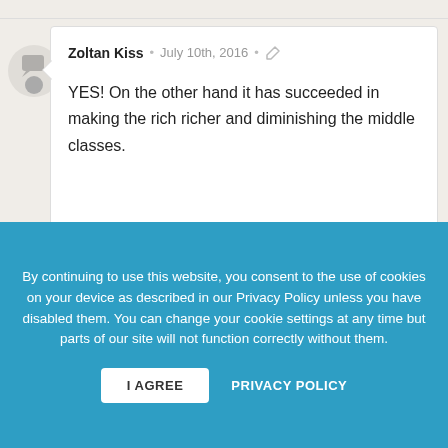Zoltan Kiss • July 10th, 2016 • [link icon]
YES! On the other hand it has succeeded in making the rich richer and diminishing the middle classes.
→ Write a reply
By continuing to use this website, you consent to the use of cookies on your device as described in our Privacy Policy unless you have disabled them. You can change your cookie settings at any time but parts of our site will not function correctly without them.
I AGREE
PRIVACY POLICY